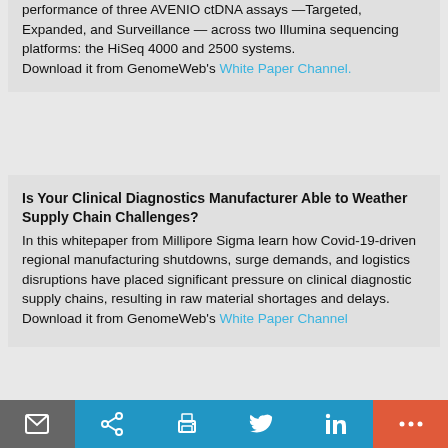performance of three AVENIO ctDNA assays —Targeted, Expanded, and Surveillance — across two Illumina sequencing platforms: the HiSeq 4000 and 2500 systems.
Download it from GenomeWeb's White Paper Channel.
Is Your Clinical Diagnostics Manufacturer Able to Weather Supply Chain Challenges?
In this whitepaper from Millipore Sigma learn how Covid-19-driven regional manufacturing shutdowns, surge demands, and logistics disruptions have placed significant pressure on clinical diagnostic supply chains, resulting in raw material shortages and delays.
Download it from GenomeWeb's White Paper Channel